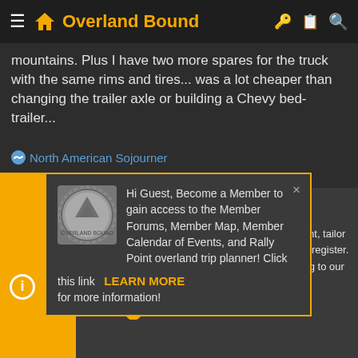≡ 🏠 Overland Bound 🔑 📋 🔍
mountains. Plus I have two more spares for the truck with the same rims and tires... was a lot cheaper than changing the trailer axle or building a Chevy bed-trailer...
👍 North American Sojourner
[Figure (screenshot): Overland Bound membership popup with coin logo, text: Hi Guest, Become a Member to gain access to the Member Forums, Member Map, Member Calendar of Events, and Rally Point overland trip planner! Click this link LEARN MORE for more information!]
This site uses cookies to help personalise content, tailor your experience and to keep you logged in if you register. By continuing to use this site, you are consenting to our use of cookies.
✔ ACCEPT    LEARN MORE...